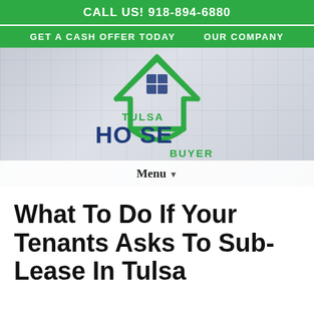CALL US! 918-894-6880
GET A CASH OFFER TODAY    OUR COMPANY
[Figure (logo): Tulsa House Buyer logo with green house icon, blue HOUSE text, green TULSA and BUYER text]
Menu ▾
What To Do If Your Tenants Asks To Sub-Lease In Tulsa